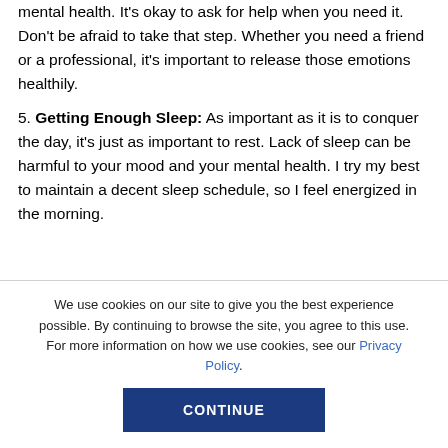mental health. It's okay to ask for help when you need it. Don't be afraid to take that step. Whether you need a friend or a professional, it's important to release those emotions healthily.
5. Getting Enough Sleep: As important as it is to conquer the day, it's just as important to rest. Lack of sleep can be harmful to your mood and your mental health. I try my best to maintain a decent sleep schedule, so I feel energized in the morning.
We use cookies on our site to give you the best experience possible. By continuing to browse the site, you agree to this use. For more information on how we use cookies, see our Privacy Policy.
CONTINUE